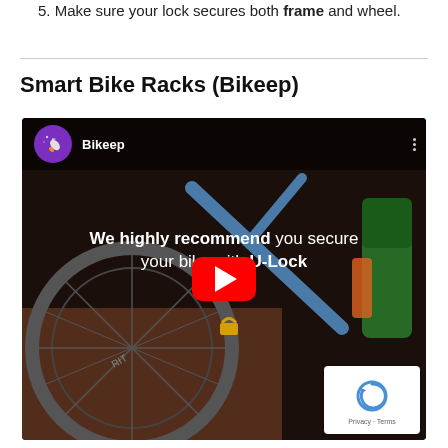5. Make sure your lock secures both frame and wheel.
Smart Bike Racks (Bikeep)
[Figure (screenshot): YouTube video embed thumbnail showing a Bikeep channel video with text overlay 'We highly recommend you secure your bike with U-Lock' and a red YouTube play button, with a bicycle image in the background.]